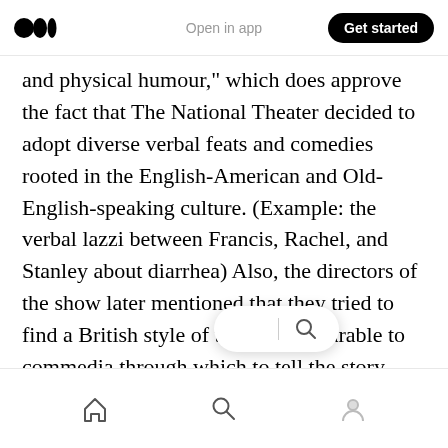Open in app | Get started
and physical humour,” which does approve the fact that The National Theater decided to adopt diverse verbal feats and comedies rooted in the English-American and Old-English-speaking culture. (Example: the verbal lazzi between Francis, Rachel, and Stanley about diarrhea) Also, the directors of the show later mentioned that they tried to find a British style of theatre comparable to commedia through which to tell the story.
Another thing tha… …apple with the